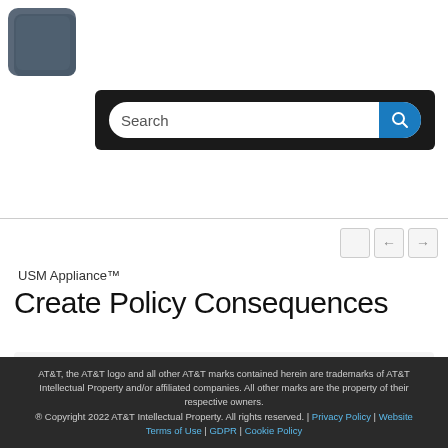[Figure (logo): AT&T/AlienVault logo — dark blue-grey square with rounded top-right corner]
[Figure (screenshot): Search bar UI element: dark background container with rounded white input field labeled 'Search' and a blue search button with magnifying glass icon]
USM Appliance™
Create Policy Consequences
| Applies to Product: | USM Appliance™ | AlienVault OSSIM® |
| --- | --- | --- |
AT&T, the AT&T logo and all other AT&T marks contained herein are trademarks of AT&T Intellectual Property and/or affiliated companies. All other marks are the property of their respective owners. © Copyright 2022 AT&T Intellectual Property. All rights reserved. | Privacy Policy | Website Terms of Use | GDPR | Cookie Policy